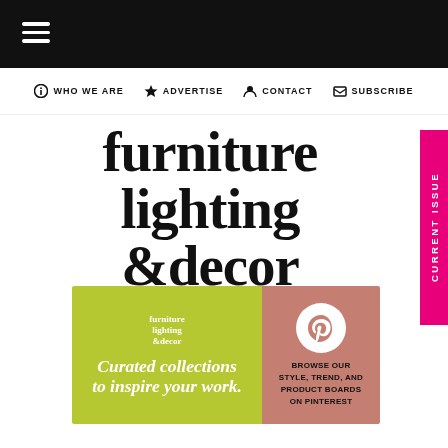[Figure (screenshot): Black top navigation bar with hamburger menu icon (three white horizontal lines)]
WHO WE ARE  ADVERTISE  CONTACT  SUBSCRIBE
furniture lighting & decor
[Figure (infographic): Banner ad with yellow-green left side showing 'furniture lighting & decor' logo and 'Curated collections to inspire your work.' text, and pink/mauve right side showing Pinterest logo circle and 'BROWSE OUR STYLE, TREND, AND PRODUCT BOARDS ON PINTEREST']